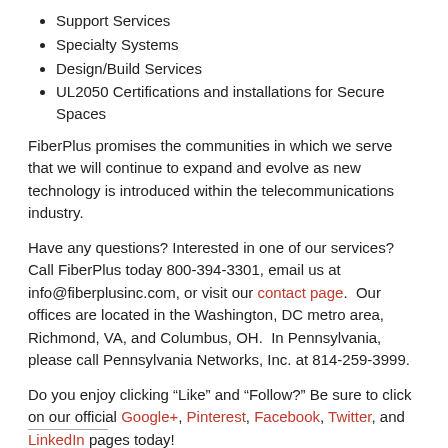Support Services
Specialty Systems
Design/Build Services
UL2050 Certifications and installations for Secure Spaces
FiberPlus promises the communities in which we serve that we will continue to expand and evolve as new technology is introduced within the telecommunications industry.
Have any questions? Interested in one of our services? Call FiberPlus today 800-394-3301, email us at info@fiberplusinc.com, or visit our contact page.  Our offices are located in the Washington, DC metro area, Richmond, VA, and Columbus, OH.  In Pennsylvania, please call Pennsylvania Networks, Inc. at 814-259-3999.
Do you enjoy clicking “Like” and “Follow?” Be sure to click on our official Google+, Pinterest, Facebook, Twitter, and LinkedIn pages today!